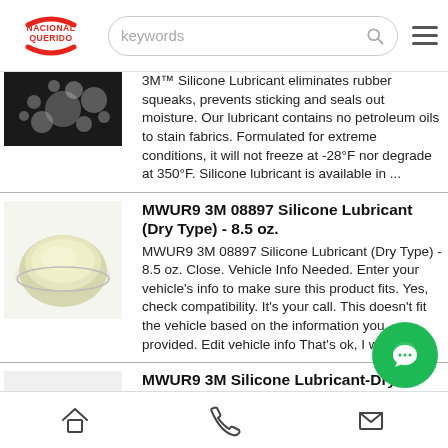NACIONAL QUERIDO — keywords search bar — menu
3M™ Silicone Lubricant eliminates rubber squeaks, prevents sticking and seals out moisture. Our lubricant contains no petroleum oils to stain fabrics. Formulated for extreme conditions, it will not freeze at -28°F nor degrade at 350°F. Silicone lubricant is available in ...
MWUR9 3M 08897 Silicone Lubricant (Dry Type) - 8.5 oz.
MWUR9 3M 08897 Silicone Lubricant (Dry Type) - 8.5 oz. Close. Vehicle Info Needed. Enter your vehicle's info to make sure this product fits. Yes, check compatibility. It's your call. This doesn't fit the vehicle based on the information you provided. Edit vehicle info That's ok, I want this!
MWUR9 3M Silicone Lubricant-Dry Version, 08897, 8.5 ...
This item MWUR9 3M Silicone Lubricant-Dry Version, 08897, 8.5 OZ, 12 PER CA...